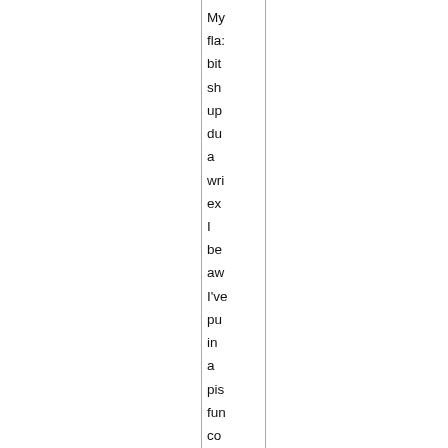My flas bite sho up du a wri exe I be aw I've pu in a pis fur co my to oth wh